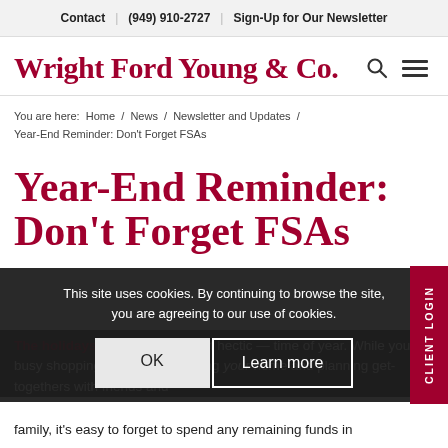Contact | (949) 910-2727 | Sign-Up for Our Newsletter
Wright Ford Young & Co.
You are here: Home / News / Newsletter and Updates / Year-End Reminder: Don't Forget FSAs
Year-End Reminder: Don't Forget FSAs
This site uses cookies. By continuing to browse the site, you are agreeing to our use of cookies.
The holidays are a joyous — but hectic — time of year. While you're busy shopping for gifts, decorating your home and planning get-togethers with friends and family, it's easy to forget to spend any remaining funds in